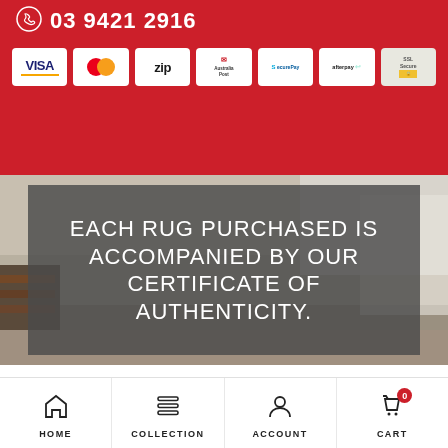03 9421 2916
[Figure (infographic): Payment method icons: VISA, Mastercard, Zip, Australia Post, SecurePay, Afterpay, SSL Secure]
[Figure (photo): Background photo of a living room with a rug]
EACH RUG PURCHASED IS ACCOMPANIED BY OUR CERTIFICATE OF AUTHENTICITY.
HOME  COLLECTION  ACCOUNT  CART